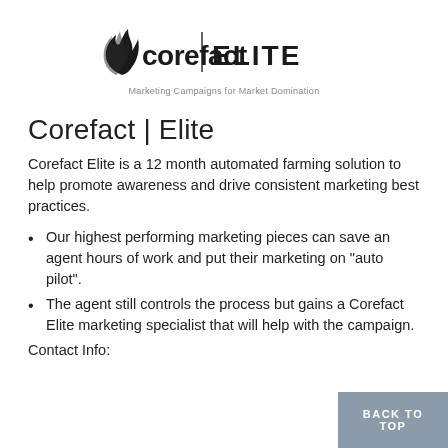[Figure (logo): Corefact | ELITE logo with tagline 'Marketing Campaigns for Market Domination']
Corefact | Elite
Corefact Elite is a 12 month automated farming solution to help promote awareness and drive consistent marketing best practices.
Our highest performing marketing pieces can save an agent hours of work and put their marketing on "auto pilot".
The agent still controls the process but gains a Corefact Elite marketing specialist that will help with the campaign.
Contact Info: